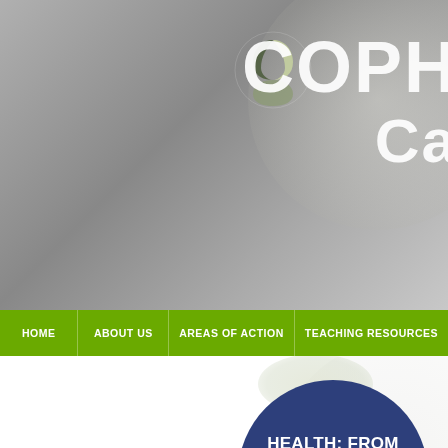[Figure (screenshot): Website header banner with grey gradient background, partial logo text 'COPH Ca' visible on the right with a yin-yang style icon, navigation bar in green with HOME, ABOUT US, AREAS OF ACTION, TEACHING RESOURCES menu items, and a dark navy blue circle containing white bold text 'HEALTH: FROM MULTIPLE TO ECOHEALTH PERSPECTIVES']
COPH Ca
HOME | ABOUT US | AREAS OF ACTION | TEACHING RESOURCES
HEALTH: FROM MULTIPLE TO ECOHEALTH PERSPECTIVES